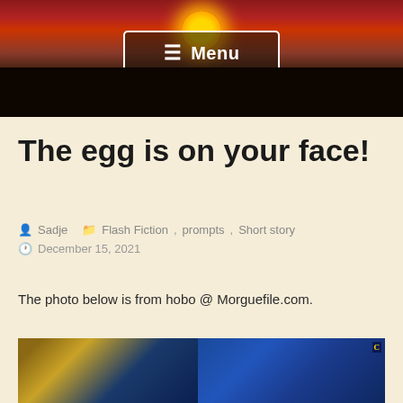[Figure (photo): Sunset landscape photo with a golden sun on the horizon, dark silhouette of flat ground, red and dark sky, with a white-bordered Menu button overlay in the center]
The egg is on your face!
👤 Sadje  📁 Flash Fiction, prompts, Short story  🕐 December 15, 2021
The photo below is from hobo @ Morguefile.com.
[Figure (photo): Partial view of a photo showing blue corrugated metal structures, appears to be a market or industrial scene]